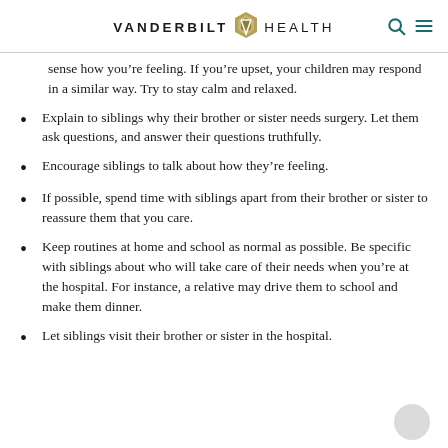VANDERBILT HEALTH
sense how you’re feeling. If you’re upset, your children may respond in a similar way. Try to stay calm and relaxed.
Explain to siblings why their brother or sister needs surgery. Let them ask questions, and answer their questions truthfully.
Encourage siblings to talk about how they’re feeling.
If possible, spend time with siblings apart from their brother or sister to reassure them that you care.
Keep routines at home and school as normal as possible. Be specific with siblings about who will take care of their needs when you’re at the hospital. For instance, a relative may drive them to school and make them dinner.
Let siblings visit their brother or sister in the hospital.